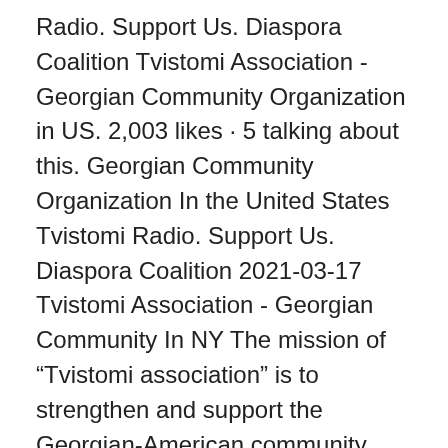Radio. Support Us. Diaspora Coalition Tvistomi Association - Georgian Community Organization in US. 2,003 likes · 5 talking about this. Georgian Community Organization In the United States Tvistomi Radio. Support Us. Diaspora Coalition 2021-03-17 Tvistomi Association - Georgian Community In NY The mission of “Tvistomi association” is to strengthen and support the Georgian-American community. Create and generate Georgian Diaspora as one strong organization that can help and assist Georgian immigrants in easy and smooth adaptation, cultural transition and integration to American society, in order to help to keep multicultural Tvistomi Radio. Support Us. Diaspora Coalition Tvistomi Association Wednesday, July 1, 2009. Crossroads: A Former Soviet's Defining Moment Posted by Dan